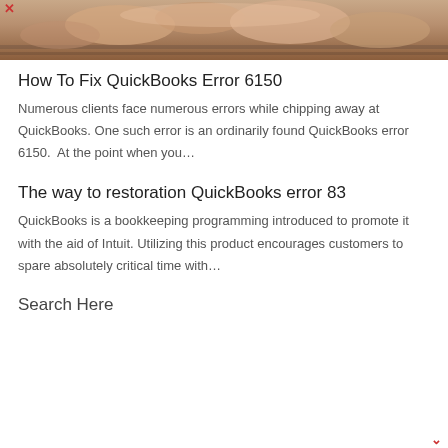[Figure (photo): Close-up photo of hands typing on a keyboard, warm tones]
How To Fix QuickBooks Error 6150
Numerous clients face numerous errors while chipping away at QuickBooks. One such error is an ordinarily found QuickBooks error 6150.  At the point when you…
The way to restoration QuickBooks error 83
QuickBooks is a bookkeeping programming introduced to promote it with the aid of Intuit. Utilizing this product encourages customers to spare absolutely critical time with…
Search Here